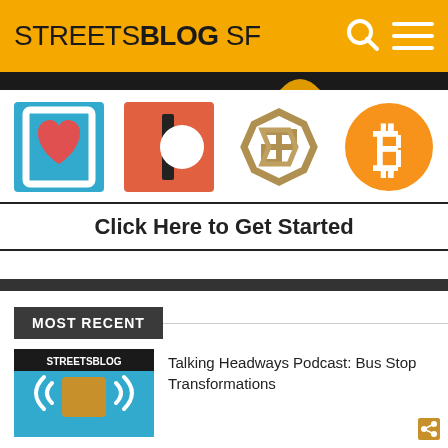STREETSBLOG SF
[Figure (logo): Four sponsor logos: health/heart icon, Patreon logo, stylized S logo, Bitcoin logo]
Click Here to Get Started
MOST RECENT
Talking Headways Podcast: Bus Stop Transformations